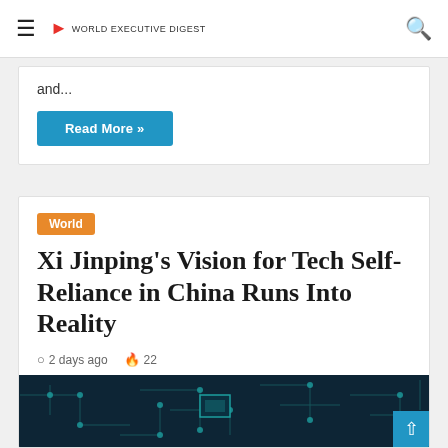Navigation bar with hamburger menu, logo, and search icon
and...
Read More »
World
Xi Jinping's Vision for Tech Self-Reliance in China Runs Into Reality
2 days ago  22
[Figure (photo): Dark teal circuit board background image with electronic component traces and nodes]